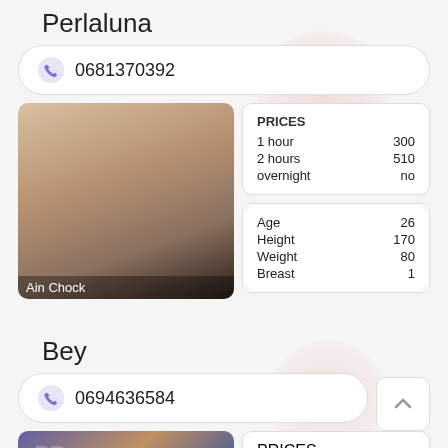Perlaluna
0681370392
[Figure (photo): Bedroom photo with bed and bedding visible, label 'Ain Chock' at bottom]
| PRICES |  |
| --- | --- |
| 1 hour | 300 |
| 2 hours | 510 |
| overnight | no |
| Age | 26 |
| Height | 170 |
| Weight | 80 |
| Breast | 1 |
Bey
0694636584
[Figure (photo): Woman with curly hair, red lips, partial view]
| PRICES |  |
| --- | --- |
| 1 hour | 450 |